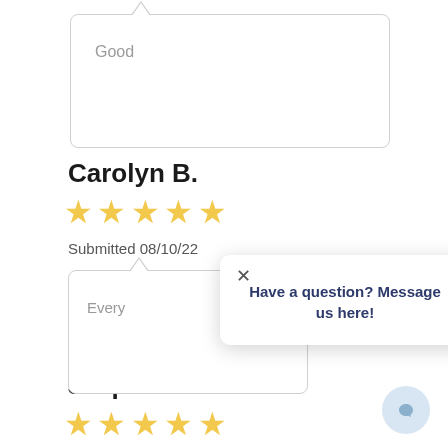[Figure (screenshot): Speech bubble tooltip with text 'Good' inside a rounded rectangle with a pointer arrow at top]
Carolyn B.
[Figure (other): Five yellow star rating]
Submitted 08/10/22
[Figure (screenshot): Speech bubble with partial text 'Every' and an overlay popup]
[Figure (other): Popup overlay with X close button and text 'Have a question? Message us here!']
Jasper A.
[Figure (other): Five yellow star rating]